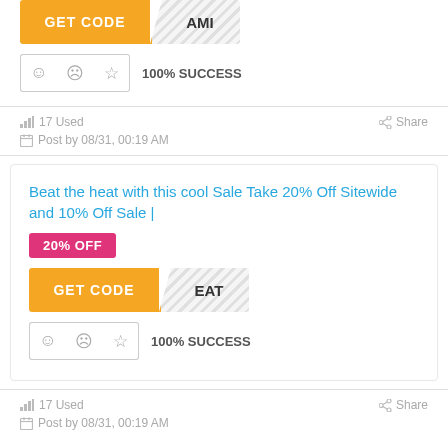[Figure (other): GET CODE button with orange left side and diagonal striped right side showing partial text 'AMI']
[Figure (other): Rating icons: smiley face, neutral face, star in bordered boxes followed by 100% SUCCESS text]
17 Used
Share
Post by 08/31, 00:19 AM
Beat the heat with this cool Sale Take 20% Off Sitewide and 10% Off Sale |
20% OFF
[Figure (other): GET CODE button with orange left side and diagonal striped right side showing partial text 'EAT']
[Figure (other): Rating icons: smiley face, neutral face, star in bordered boxes followed by 100% SUCCESS text]
17 Used
Share
Post by 08/31, 00:19 AM